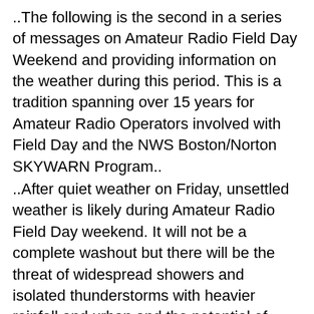..The following is the second in a series of messages on Amateur Radio Field Day Weekend and providing information on the weather during this period. This is a tradition spanning over 15 years for Amateur Radio Operators involved with Field Day and the NWS Boston/Norton SKYWARN Program.. ..After quiet weather on Friday, unsettled weather is likely during Amateur Radio Field Day weekend. It will not be a complete washout but there will be the threat of widespread showers and isolated thunderstorms with heavier rainfall and urban and the potential of urban and poor drainage flooding as well as an attendant lightning risk Saturday into Saturday Night. As we move into Sunday, the morning currently looks dry but if the warm front makes it through the region and clearing occurs behind the warm front then the potential for isolated to scattered strong to severe thunderstorms with strong to damaging winds, hail, frequent lightning and heavy rainfall on Sunday